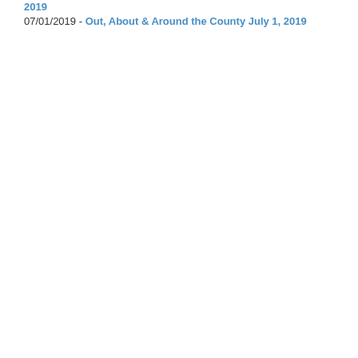07/01/2019 - Out, About & Around the County July 1, 2019